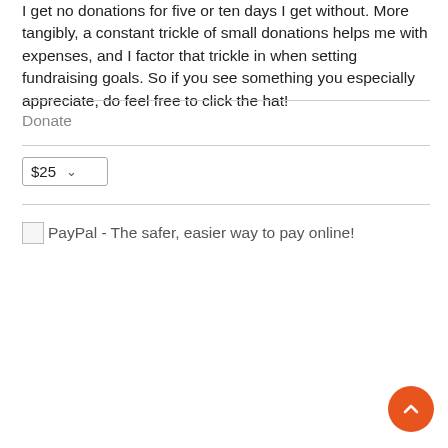I get no donations for five or ten days I get without. More tangibly, a constant trickle of small donations helps me with expenses, and I factor that trickle in when setting fundraising goals. So if you see something you especially appreciate, do feel free to click the hat!
Donate
[Figure (screenshot): A dropdown selector showing $25 with a chevron arrow]
[Figure (screenshot): PayPal button image with alt text: PayPal - The safer, easier way to pay online!]